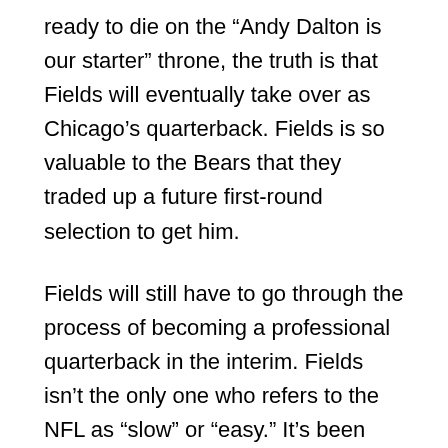ready to die on the “Andy Dalton is our starter” throne, the truth is that Fields will eventually take over as Chicago’s quarterback. Fields is so valuable to the Bears that they traded up a future first-round selection to get him.
Fields will still have to go through the process of becoming a professional quarterback in the interim. Fields isn’t the only one who refers to the NFL as “slow” or “easy.” It’s been tried before by a lot of young athletes, but it nearly always backfires.
Fields’ current emphasis should be on approaching the game with humility and a willingness to learn